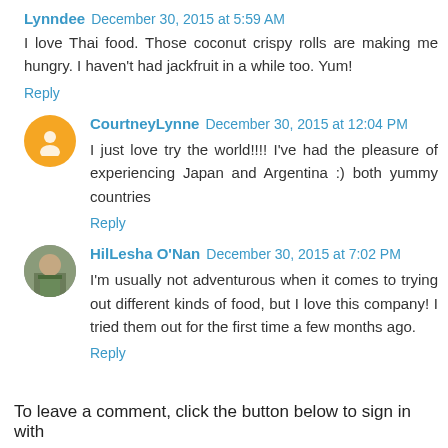Lynndee  December 30, 2015 at 5:59 AM
I love Thai food. Those coconut crispy rolls are making me hungry. I haven't had jackfruit in a while too. Yum!
Reply
CourtneyLynne  December 30, 2015 at 12:04 PM
I just love try the world!!!! I've had the pleasure of experiencing Japan and Argentina :) both yummy countries
Reply
HilLesha O'Nan  December 30, 2015 at 7:02 PM
I'm usually not adventurous when it comes to trying out different kinds of food, but I love this company! I tried them out for the first time a few months ago.
Reply
To leave a comment, click the button below to sign in with